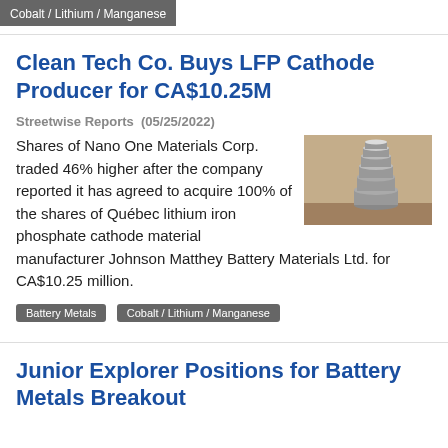Cobalt / Lithium / Manganese
Clean Tech Co. Buys LFP Cathode Producer for CA$10.25M
Streetwise Reports  (05/25/2022)
[Figure (photo): Stack of metal coins or discs on a wooden surface]
Shares of Nano One Materials Corp. traded 46% higher after the company reported it has agreed to acquire 100% of the shares of Québec lithium iron phosphate cathode material manufacturer Johnson Matthey Battery Materials Ltd. for CA$10.25 million.
Battery Metals
Cobalt / Lithium / Manganese
Junior Explorer Positions for Battery Metals Breakout